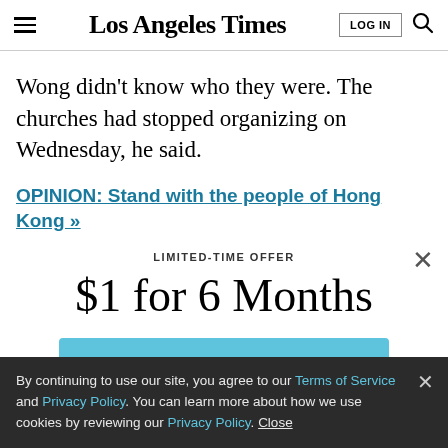Los Angeles Times
Wong didn’t know who they were. The churches had stopped organizing on Wednesday, he said.
OPINION: Stand with the people of Hong Kong »
LIMITED-TIME OFFER
$1 for 6 Months
SUBSCRIBE NOW
By continuing to use our site, you agree to our Terms of Service and Privacy Policy. You can learn more about how we use cookies by reviewing our Privacy Policy. Close